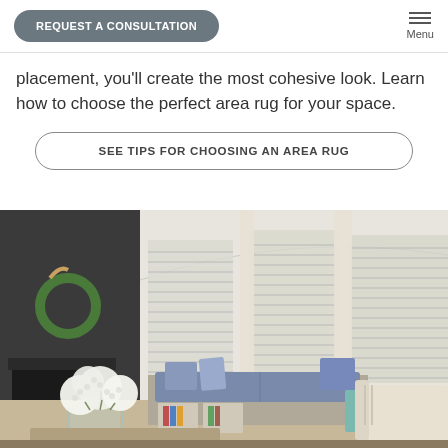REQUEST A CONSULTATION | Menu
placement, you’ll create the most cohesive look. Learn how to choose the perfect area rug for your space.
SEE TIPS FOR CHOOSING AN AREA RUG
[Figure (photo): Interior living room scene with horizontal window blinds/sheer shades, cream curtains, a window seat with blue cushions and pillows, two cream armchairs, a wreath on a dark fireplace surround, a bouquet of white hydrangeas in a glass vase on a coffee table, and books on a lower shelf.]